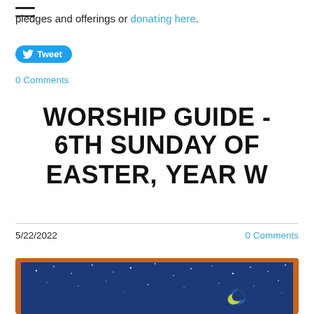pledges and offerings or donating here.
Tweet
0 Comments
WORSHIP GUIDE - 6TH SUNDAY OF EASTER, YEAR W
5/22/2022
0 Comments
[Figure (illustration): Framed painting of a night sky with stars and a crescent moon on a dark blue background, with an orange/brown wooden frame border visible at bottom of page.]